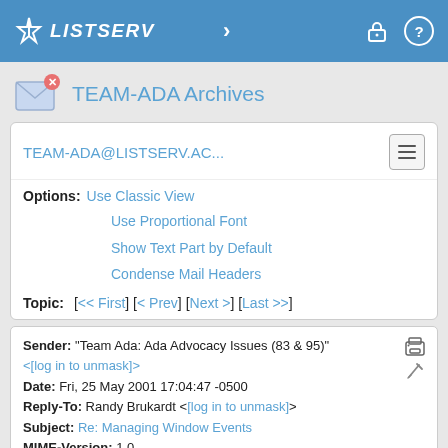LISTSERV
TEAM-ADA Archives
TEAM-ADA@LISTSERV.AC...
Options: Use Classic View
Use Proportional Font
Show Text Part by Default
Condense Mail Headers
Topic: [<< First] [< Prev] [Next >] [Last >>]
Sender: "Team Ada: Ada Advocacy Issues (83 & 95)" <[log in to unmask]>
Date: Fri, 25 May 2001 17:04:47 -0500
Reply-To: Randy Brukardt <[log in to unmask]>
Subject: Re: Managing Window Events
MIME-Version: 1.0
Content-Transfer-Encoding: 7bit